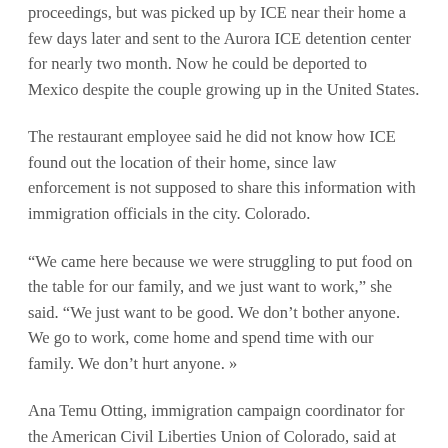proceedings, but was picked up by ICE near their home a few days later and sent to the Aurora ICE detention center for nearly two month. Now he could be deported to Mexico despite the couple growing up in the United States.
The restaurant employee said he did not know how ICE found out the location of their home, since law enforcement is not supposed to share this information with immigration officials in the city. Colorado.
“We came here because we were struggling to put food on the table for our family, and we just want to work,” she said. “We just want to be good. We don’t bother anyone. We go to work, come home and spend time with our family. We don’t hurt anyone. »
Ana Temu Otting, immigration campaign coordinator for the American Civil Liberties Union of Colorado, said at the press conference that she remembered calling her brother in 2019 to tell him that Colorado had adopted a law that wouldn’t allow probation officers to share his information with ICE, so he didn’t need to be afraid to go to his